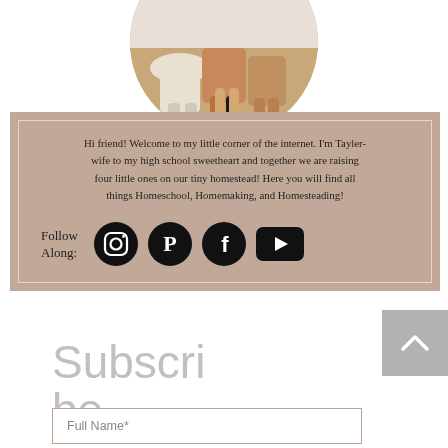[Figure (photo): Circular cropped photo showing a family sitting together — legs and lower bodies visible, casual clothing]
Hi friend! Welcome to my little corner of the internet. I'm Tayler- wife to my high school sweetheart and together we are raising four little ones on our tiny homestead! Here you will find all things Homeschool, Homemaking, and Homesteading!
Follow Along:
[Figure (illustration): Social media icons: Instagram, Pinterest, Facebook (circles), YouTube (rectangle)]
Subscribe
Full Name*